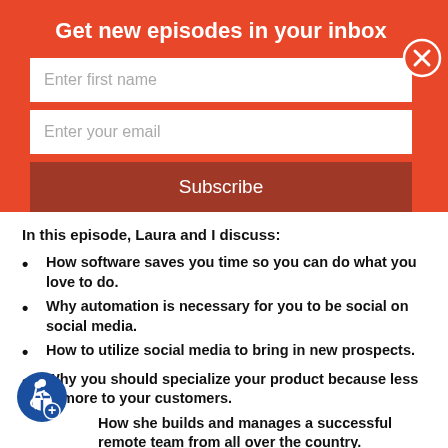Get new episodes in your inbox
Enter first name
Enter your email
Subscribe
In this episode, Laura and I discuss:
How software saves you time so you can do what you love to do.
Why automation is necessary for you to be social on social media.
How to utilize social media to bring in new prospects.
Why you should specialize your product because less is more to your customers.
How she builds and manages a successful remote team from all over the country.